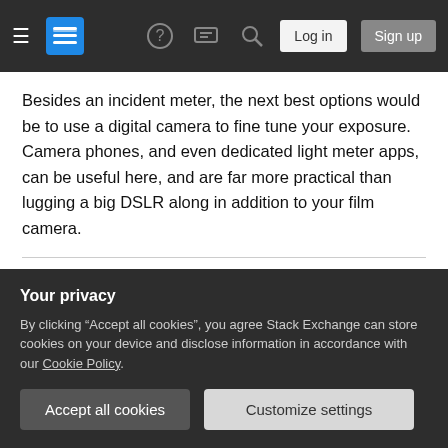Stack Exchange navigation bar with hamburger menu, logo, help, chat, search icons, Log in and Sign up buttons
Besides an incident meter, the next best options would be to use a digital camera to fine tune your exposure. Camera phones, and even dedicated light meter apps, can be useful here, and are far more practical than lugging a big DSLR along in addition to your film camera.
If you wish to get really advanced and detailed, then it is common to then reach for a Spot Meter, and use Zone System style metering to make sure you
Your privacy
By clicking "Accept all cookies", you agree Stack Exchange can store cookies on your device and disclose information in accordance with our Cookie Policy.
Accept all cookies   Customize settings